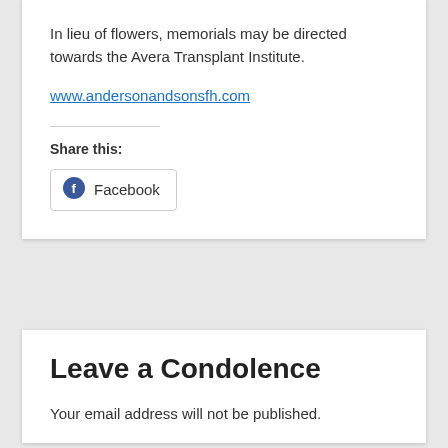In lieu of flowers, memorials may be directed towards the Avera Transplant Institute.
www.andersonandsonsfh.com
Share this:
[Figure (other): Facebook share button with Facebook logo icon and text 'Facebook']
Leave a Condolence
Your email address will not be published.